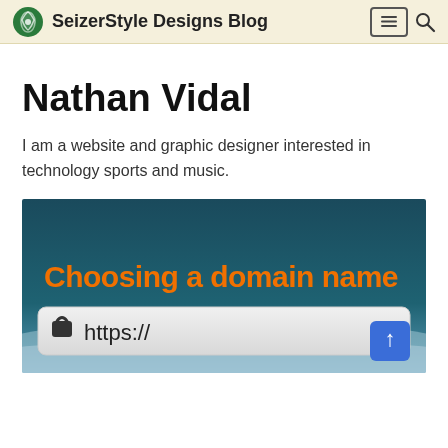SeizerStyle Designs Blog
Nathan Vidal
I am a website and graphic designer interested in technology sports and music.
[Figure (screenshot): Blog article thumbnail showing 'Choosing a domain name' with orange text on a dark teal background, and a browser address bar showing https://]